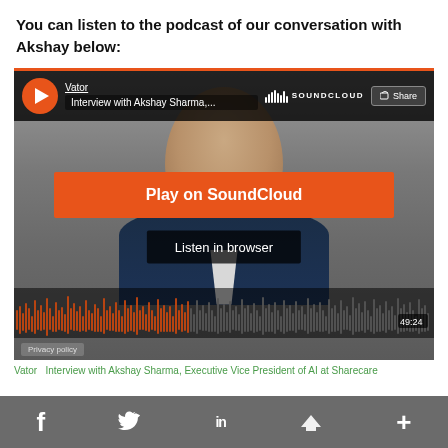You can listen to the podcast of our conversation with Akshay below:
[Figure (screenshot): SoundCloud embedded player showing an interview with Akshay Sharma. Contains a play button, track title 'Interview with Akshay Sharma,...', SoundCloud logo, Share button, orange 'Play on SoundCloud' button, 'Listen in browser' button, waveform visualization, time display showing 49:24, and Privacy policy link. Background shows a photo of a man in a suit.]
Vator   Interview with Akshay Sharma, Executive Vice President of AI at Sharecare
f  Twitter  in  M  +